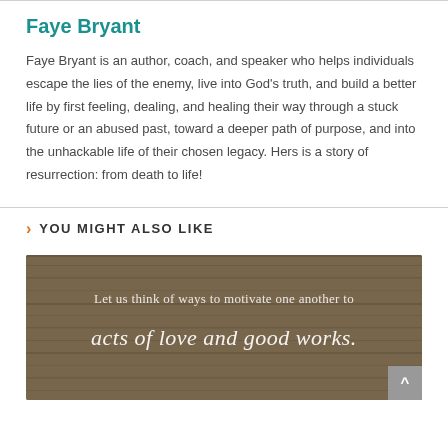Faye Bryant
Faye Bryant is an author, coach, and speaker who helps individuals escape the lies of the enemy, live into God’s truth, and build a better life by first feeling, dealing, and healing their way through a stuck future or an abused past, toward a deeper path of purpose, and into the unhackable life of their chosen legacy. Hers is a story of resurrection: from death to life!
YOU MIGHT ALSO LIKE
[Figure (photo): Inspirational image with wooden background and text reading 'Let us think of ways to motivate one another to acts of love and good works.']